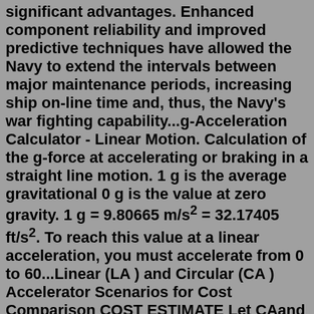significant advantages. Enhanced component reliability and improved predictive techniques have allowed the Navy to extend the intervals between major maintenance periods, increasing ship on-line time and, thus, the Navy's war fighting capability...g-Acceleration Calculator - Linear Motion. Calculation of the g-force at accelerating or braking in a straight line motion. 1 g is the average gravitational 0 g is the value at zero gravity. 1 g = 9.80665 m/s² = 32.17405 ft/s². To reach this value at a linear acceleration, you must accelerate from 0 to 60...Linear (LA ) and Circular (CA ) Accelerator Scenarios for Cost Comparison COST ESTIMATE Let CAand CBbe the cost of the two scenarios accelerators, respectively A and B, and r = CB/ CAthe ratio of the total cost of the later to that of the former scenario. For scenario A we have CA= LACRF = LA(k1+ k2PA)The accelerator-building surface is about 2000 m 2, 58 m length and 37 m width. The building consists of an accelerator vault, RF power supply area, access room, shipping bay, heat exchanger & cooling water area, nuclear